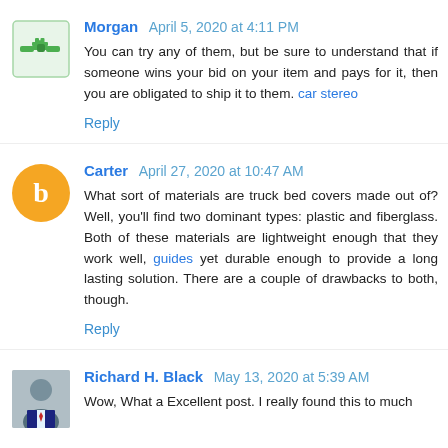Morgan April 5, 2020 at 4:11 PM
You can try any of them, but be sure to understand that if someone wins your bid on your item and pays for it, then you are obligated to ship it to them. car stereo
Reply
Carter April 27, 2020 at 10:47 AM
What sort of materials are truck bed covers made out of? Well, you'll find two dominant types: plastic and fiberglass. Both of these materials are lightweight enough that they work well, guides yet durable enough to provide a long lasting solution. There are a couple of drawbacks to both, though.
Reply
Richard H. Black May 13, 2020 at 5:39 AM
Wow, What a Excellent post. I really found this to much